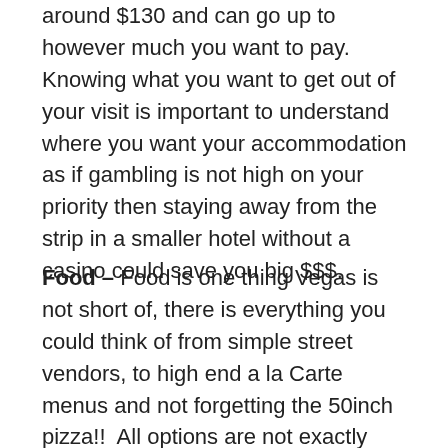around $130 and can go up to however much you want to pay.  Knowing what you want to get out of your visit is important to understand where you want your accommodation as if gambling is not high on your priority then staying away from the strip in a smaller hotel without a casino could save you big $$$.
Food – Food is one thing Vegas is not short of, there is everything you could think of from simple street vendors, to high end a la Carte menus and not forgetting the 50inch pizza!!  All options are not exactly cheap but you'll definitely find something within your budget.  Remember that when you're gambling in the casinos the waitresses